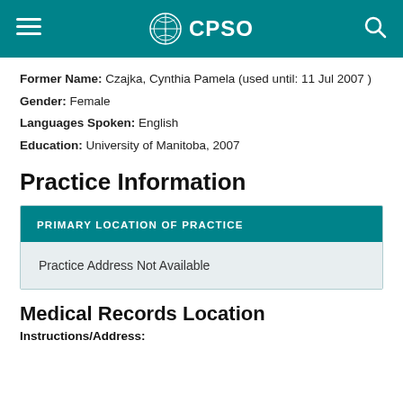CPSO
Former Name: Czajka, Cynthia Pamela (used until: 11 Jul 2007 )
Gender: Female
Languages Spoken: English
Education: University of Manitoba, 2007
Practice Information
| PRIMARY LOCATION OF PRACTICE |
| --- |
| Practice Address Not Available |
Medical Records Location
Instructions/Address: